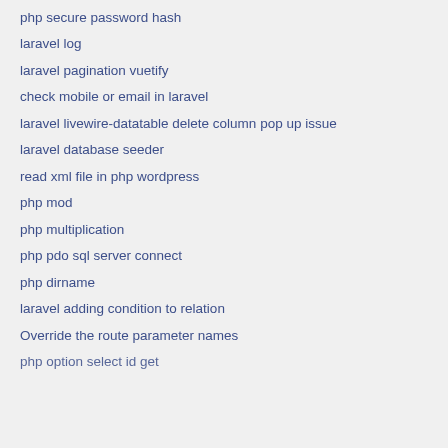php secure password hash
laravel log
laravel pagination vuetify
check mobile or email in laravel
laravel livewire-datatable delete column pop up issue
laravel database seeder
read xml file in php wordpress
php mod
php multiplication
php pdo sql server connect
php dirname
laravel adding condition to relation
Override the route parameter names
php option select id get